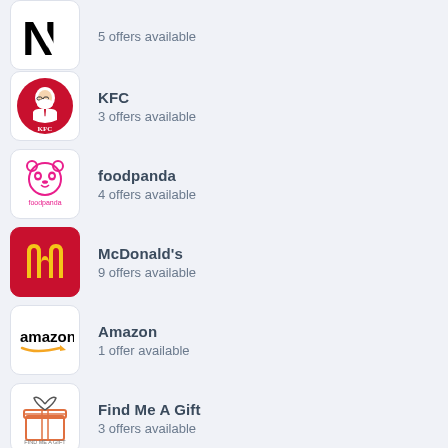5 offers available
KFC — 3 offers available
foodpanda — 4 offers available
McDonald's — 9 offers available
Amazon — 1 offer available
Find Me A Gift — 3 offers available